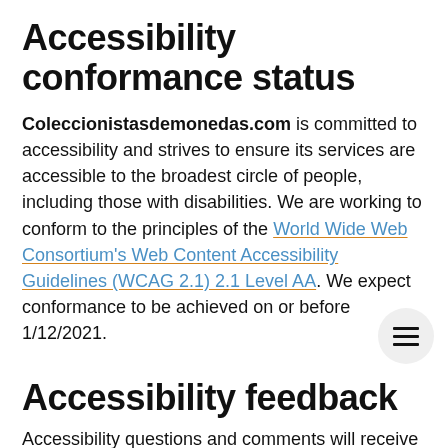Accessibility conformance status
Coleccionistasdemonedas.com is committed to accessibility and strives to ensure its services are accessible to the broadest circle of people, including those with disabilities. We are working to conform to the principles of the World Wide Web Consortium's Web Content Accessibility Guidelines (WCAG 2.1) 2.1 Level AA. We expect conformance to be achieved on or before 1/12/2021.
Accessibility feedback
Accessibility questions and comments will receive a